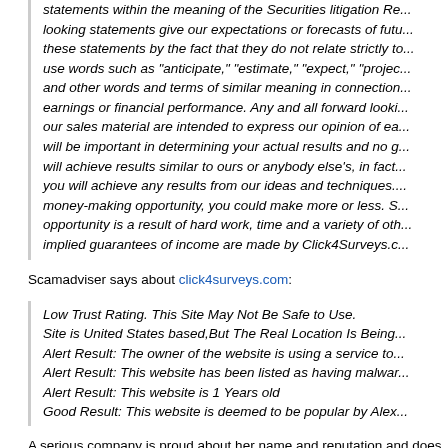statements within the meaning of the Securities litigation Re... looking statements give our expectations or forecasts of futu... these statements by the fact that they do not relate strictly to... use words such as "anticipate," "estimate," "expect," "projec... and other words and terms of similar meaning in connection... earnings or financial performance. Any and all forward looki... our sales material are intended to express our opinion of ea... will be important in determining your actual results and no g... will achieve results similar to ours or anybody else's, in fact... you will achieve any results from our ideas and techniques.... money-making opportunity, you could make more or less. S... opportunity is a result of hard work, time and a variety of oth... implied guarantees of income are made by Click4Surveys.c...
Scamadviser says about click4surveys.com:
Low Trust Rating. This Site May Not Be Safe to Use.
Site is United States based,But The Real Location Is Being...
Alert Result: The owner of the website is using a service to...
Alert Result: This website has been listed as having malwar...
Alert Result: This website is 1 Years old
Good Result: This website is deemed to be popular by Alex...
A serious company is proud about her name and reputation and does not... anonymizing service.
Some additional comments from other users are found at the site of Scama... opinion that click4surveys is nothing else than scam.